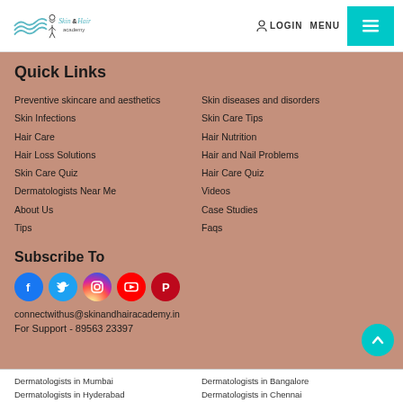[Figure (logo): Skin & Hair Academy logo with decorative waves and figure]
LOGIN
MENU
Quick Links
Preventive skincare and aesthetics
Skin Infections
Hair Care
Hair Loss Solutions
Skin Care Quiz
Dermatologists Near Me
About Us
Tips
Skin diseases and disorders
Skin Care Tips
Hair Nutrition
Hair and Nail Problems
Hair Care Quiz
Videos
Case Studies
Faqs
Subscribe To
[Figure (infographic): Social media icons: Facebook, Twitter, Instagram, YouTube, Pinterest]
connectwithus@skinandhairacademy.in
For Support - 89563 23397
Dermatologists in Mumbai
Dermatologists in Hyderabad
Dermatologists in Pune
Dermatologists in Bangalore
Dermatologists in Chennai
Dermatologists in Delhi